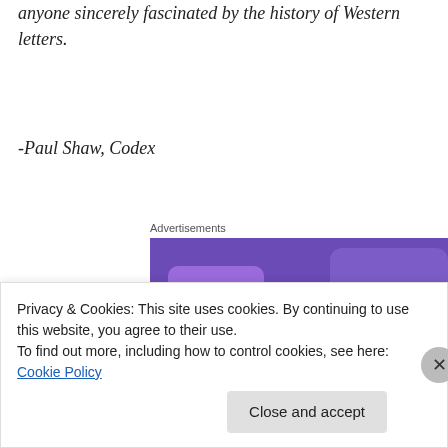anyone sincerely fascinated by the history of Western letters.
-Paul Shaw, Codex
Advertisements
[Figure (illustration): WooCommerce advertisement banner with purple and dark navy background, teal accent shapes, WooCommerce logo in white, text reading 'Turn your hobby into a business in 8 steps']
Privacy & Cookies: This site uses cookies. By continuing to use this website, you agree to their use.
To find out more, including how to control cookies, see here: Cookie Policy